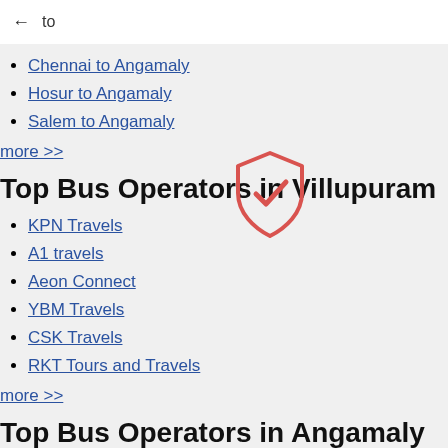← to
Chennai to Angamaly
Hosur to Angamaly
Salem to Angamaly
more >>
Top Bus Operators in Villupuram
KPN Travels
A1 travels
Aeon Connect
YBM Travels
CSK Travels
RKT Tours and Travels
more >>
Top Bus Operators in Angamaly
Alhind Tours and Travels Pvt Ltd